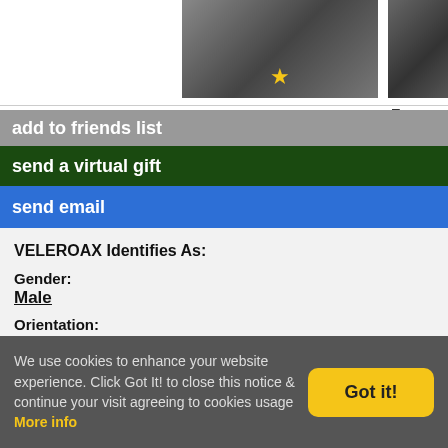[Figure (photo): Two profile photos side by side; left photo has a gold star overlay at bottom center; right photo is partially visible]
add to friends list
send a virtual gift
send email
VELEROAX Identifies As:
Gender:
Male
Orientation:
Gay
STATS
Height:
5'06"
We use cookies to enhance your website experience. Click Got It! to close this notice & continue your visit agreeing to cookies usage More info